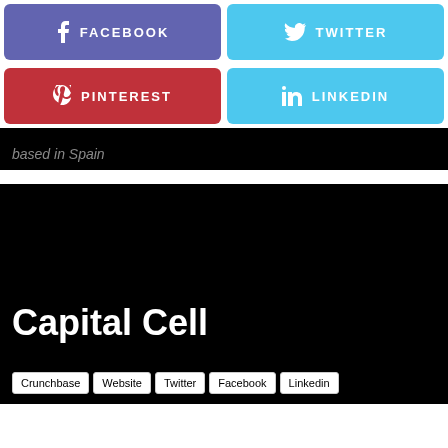[Figure (infographic): Social media share buttons: Facebook (purple), Twitter (blue), Pinterest (red), LinkedIn (blue)]
based in Spain
[Figure (infographic): Black card with 'Capital Cell' title and links: Crunchbase, Website, Twitter, Facebook, Linkedin]